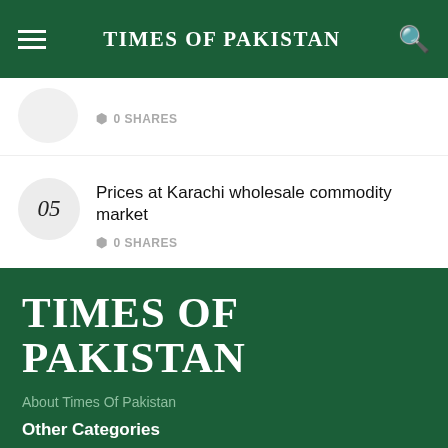TIMES OF PAKISTAN
0 SHARES
05 Prices at Karachi wholesale commodity market
0 SHARES
TIMES OF PAKISTAN
About Times Of Pakistan
Other Categories